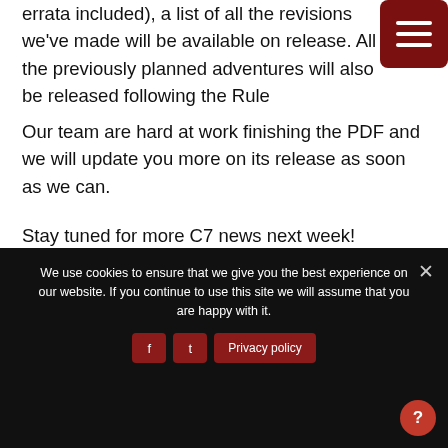errata included), a list of all the revisions we've made will be available on release. All the previously planned adventures will also be released following the Rule
Our team are hard at work finishing the PDF and we will update you more on its release as soon as we can.
Stay tuned for more C7 news next week!
Cubicle 7 Entertainment Ltd.© Games Workshop 2019
We use cookies to ensure that we give you the best experience on our website. If you continue to use this site we will assume that you are happy with it.